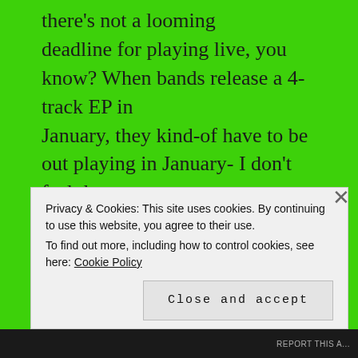there's not a looming deadline for playing live, you know? When bands release a 4-track EP in January, they kind-of have to be out playing in January- I don't feel that pressure due to the sheer amount I've released, and that's cool. I have missed playing live a lot over this last year – and that's really been some of the first times I've yearned to be back on stage since the Mascara Story days. It's a new feeling. I think it stems from confidence in my new
Privacy & Cookies: This site uses cookies. By continuing to use this website, you agree to their use. To find out more, including how to control cookies, see here: Cookie Policy
Close and accept
REPORT THIS A...